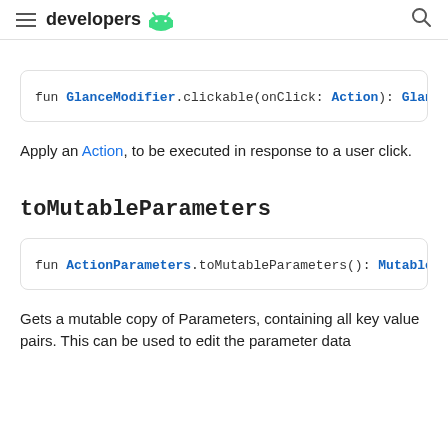developers
fun GlanceModifier.clickable(onClick: Action): Glance
Apply an Action, to be executed in response to a user click.
toMutableParameters
fun ActionParameters.toMutableParameters(): MutableA
Gets a mutable copy of Parameters, containing all key value pairs. This can be used to edit the parameter data